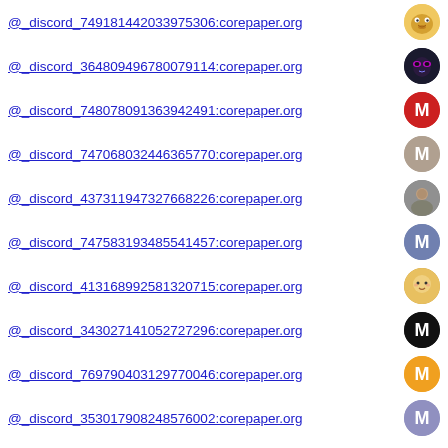@_discord_749181442033975306:corepaper.org
@_discord_364809496780079114:corepaper.org
@_discord_748078091363942491:corepaper.org
@_discord_747068032446365770:corepaper.org
@_discord_437311947327668226:corepaper.org
@_discord_747583193485541457:corepaper.org
@_discord_413168992581320715:corepaper.org
@_discord_343027141052727296:corepaper.org
@_discord_769790403129770046:corepaper.org
@_discord_353017908248576002:corepaper.org